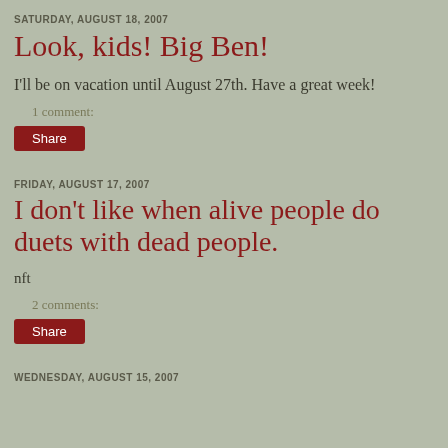SATURDAY, AUGUST 18, 2007
Look, kids! Big Ben!
I'll be on vacation until August 27th. Have a great week!
1 comment:
Share
FRIDAY, AUGUST 17, 2007
I don't like when alive people do duets with dead people.
nft
2 comments:
Share
WEDNESDAY, AUGUST 15, 2007